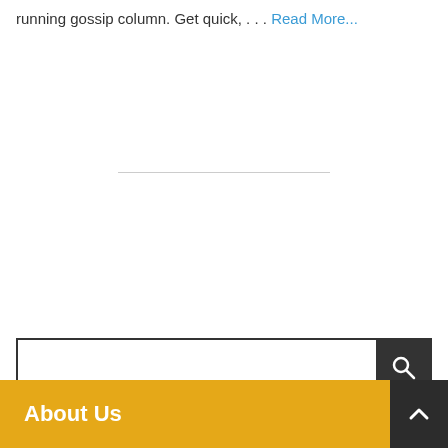running gossip column. Get quick, . . . Read More...
[Figure (other): Horizontal divider line]
[Figure (other): Search bar with text input field and dark search button with magnifying glass icon]
About Us